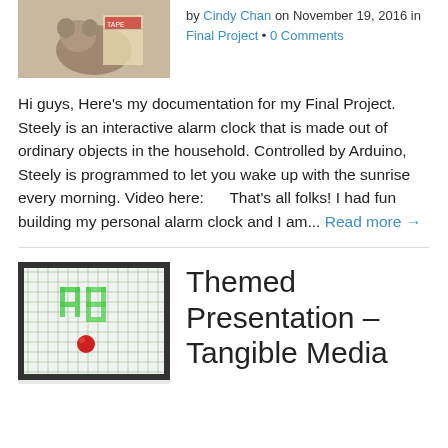[Figure (photo): Photo of a dog or animal with packaging items]
by Cindy Chan on November 19, 2016 in Final Project • 0 Comments
Hi guys, Here's my documentation for my Final Project. Steely is an interactive alarm clock that is made out of ordinary objects in the household. Controlled by Arduino, Steely is programmed to let you wake up with the sunrise every morning. Video here:      That's all folks! I had fun building my personal alarm clock and I am... Read more →
[Figure (photo): Photo of a grid/mesh board with LED lights and a red ball]
Themed Presentation – Tangible Media